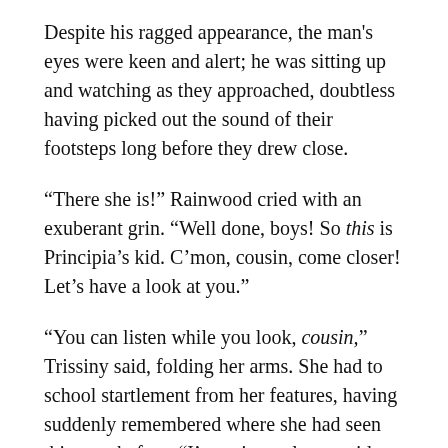Despite his ragged appearance, the man's eyes were keen and alert; he was sitting up and watching as they approached, doubtless having picked out the sound of their footsteps long before they drew close.
“There she is!” Rainwood cried with an exuberant grin. “Well done, boys! So this is Principia’s kid. C’mon, cousin, come closer! Let’s have a look at you.”
“You can listen while you look, cousin,” Trissiny said, folding her arms. She had to school startlement from her features, having suddenly remembered where she had seen this man before. “I’m going to leave aside the matter of you peremptorily summoning the Hand of Avei whenever you like. Personally, I don’t much mind, but I won’t speak for what the Sisterhood might do if you interrupt its business. But a man with your history should certainly have better sense than to send hirelings to intrude on the Thieves’ Guild. Right now, Underboss Velvet seems more amused by